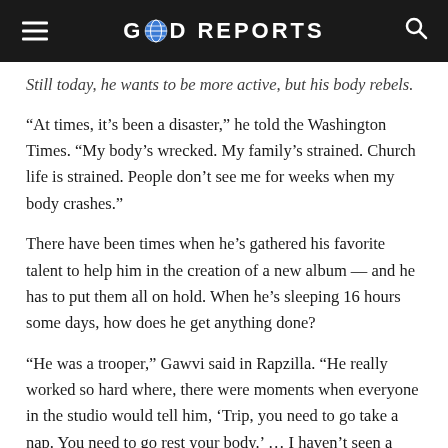GOD REPORTS
Still today, he wants to be more active, but his body rebels.
“At times, it’s been a disaster,” he told the Washington Times. “My body’s wrecked. My family’s strained. Church life is strained. People don’t see me for weeks when my body crashes.”
There have been times when he’s gathered his favorite talent to help him in the creation of a new album — and he has to put them all on hold. When he’s sleeping 16 hours some days, how does he get anything done?
“He was a trooper,” Gawvi said in Rapzilla. “He really worked so hard where, there were moments when everyone in the studio would tell him, ‘Trip, you need to go take a nap. You need to go rest your body.’ … I haven’t seen a man work so hard on an album.”